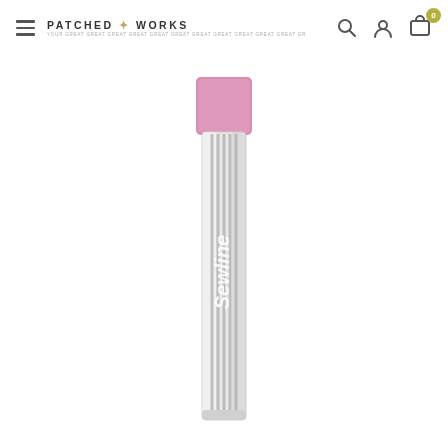Patched Works — Navigation header with logo, search, account, and cart icons
[Figure (photo): A Sewline brand mechanical pencil lead refill tube with a pink/mauve eraser cap on top, containing silver pencil leads inside a clear cylindrical plastic tube. The Sewline brand name is printed vertically in white text on the tube. Photographed on a white background.]